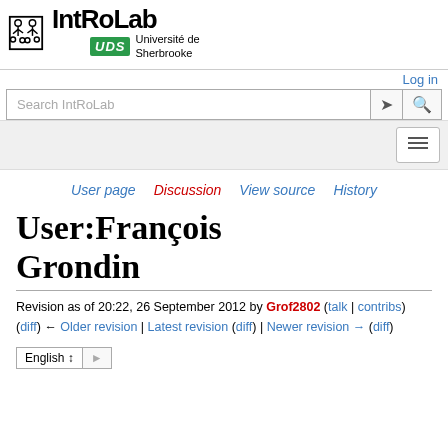[Figure (logo): IntRoLab logo with stick-figure robots and UdS (Université de Sherbrooke) badge in green]
Log in
Search IntRoLab
User page | Discussion | View source | History
User:François Grondin
Revision as of 20:22, 26 September 2012 by Grof2802 (talk | contribs)
(diff) ← Older revision | Latest revision (diff) | Newer revision → (diff)
English ↕↓